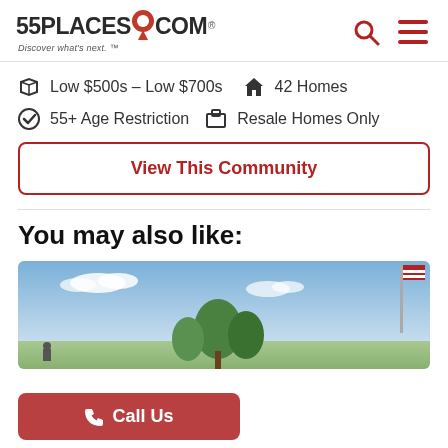55PLACES.COM - Discover what's next.
Low $500s - Low $700s   42 Homes
55+ Age Restriction   Resale Homes Only
View This Community
You may also like:
[Figure (photo): Outdoor community photo showing blue sky with clouds, trees, and an American flag.]
Call Us